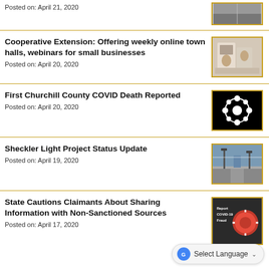Posted on: April 21, 2020
[Figure (photo): Road/highway aerial view thumbnail]
Cooperative Extension: Offering weekly online town halls, webinars for small businesses
Posted on: April 20, 2020
[Figure (photo): Two people at a table working together thumbnail]
First Churchill County COVID Death Reported
Posted on: April 20, 2020
[Figure (photo): White flower on black background thumbnail]
Sheckler Light Project Status Update
Posted on: April 19, 2020
[Figure (photo): Road with trees and traffic lights thumbnail]
State Cautions Claimants About Sharing Information with Non-Sanctioned Sources
Posted on: April 17, 2020
[Figure (photo): Report COVID-19 Fraud graphic with coronavirus image thumbnail]